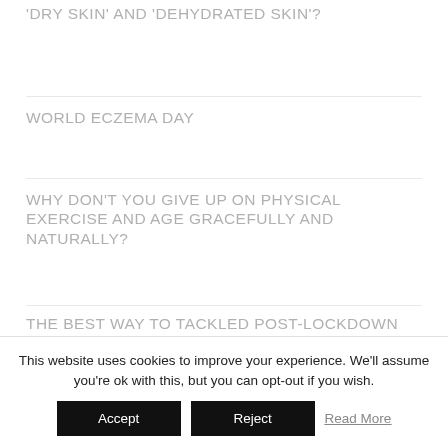'dry skin' and 'dehydrated skin'?
World Eczema Day
Why don't you give up on physical exercise and age gracefully and naturally?
The best way to tackled post-lockdown HANDS!
Eudelo has gone virtual
This website uses cookies to improve your experience. We'll assume you're ok with this, but you can opt-out if you wish.